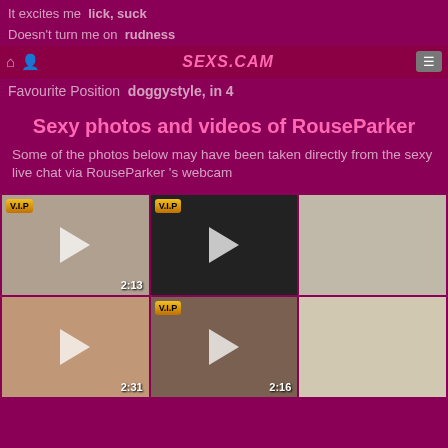It excites me  lick, suck
Doesn't turn me on  rudness
SEXS.CAM
Favourite Position  doggystyle, in 4
Sexy photos and videos of RouseParker
Some of the photos below may have been taken directly from the sexy live chat via RouseParker 's webcam
[Figure (photo): Grid of 6 video thumbnails of RouseParker, some with VIP badges and duration timestamps (2:13, 2:31, 2:16)]